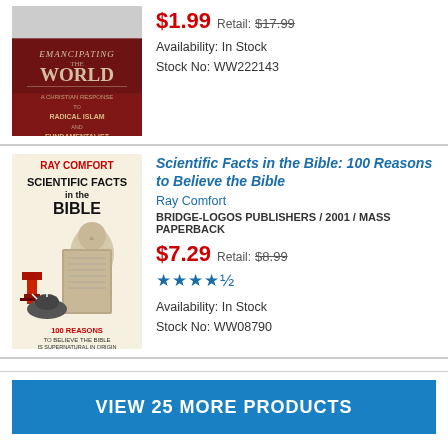[Figure (illustration): Book cover of 'Emancipating the World' showing a red cover with title text including 'Christian Response to Radical Islam and Fundamentalist Atheism']
$1.99 Retail: $17.99
Availability: In Stock
Stock No: WW222143
[Figure (illustration): Book cover of 'Scientific Facts in the Bible: 100 Reasons to Believe the Bible is Supernatural in Origin' by Ray Comfort, showing Einstein, a microscope, and a badger]
Scientific Facts in the Bible: 100 Reasons to Believe the Bible
Ray Comfort
BRIDGE-LOGOS PUBLISHERS / 2001 / MASS PAPERBACK
$7.29 Retail: $8.99
★★★★½
Availability: In Stock
Stock No: WW08790
VIEW 25 MORE PRODUCTS